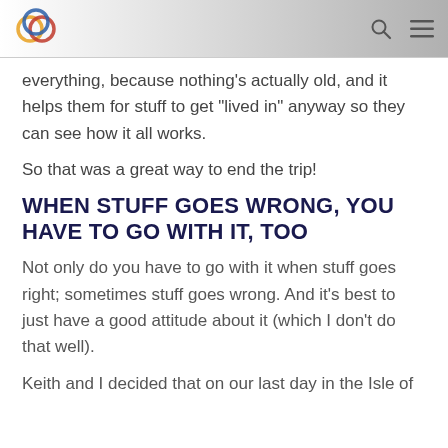everything, because nothing’s actually old, and it helps them for stuff to get “lived in” anyway so they can see how it all works.
So that was a great way to end the trip!
WHEN STUFF GOES WRONG, YOU HAVE TO GO WITH IT, TOO
Not only do you have to go with it when stuff goes right; sometimes stuff goes wrong. And it’s best to just have a good attitude about it (which I don’t do that well).
Keith and I decided that on our last day in the Isle of